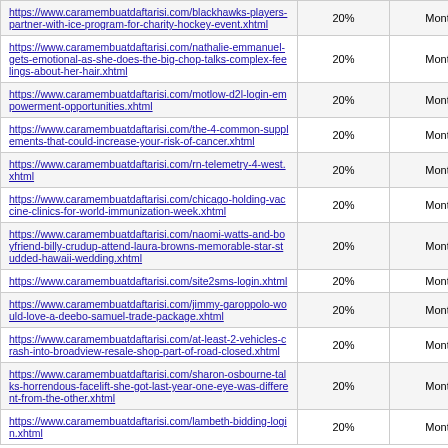| URL | Rate | Frequency |
| --- | --- | --- |
| https://www.caramembuatdaftarisi.com/blackhawks-players-partner-with-ice-program-for-charity-hockey-event.xhtml | 20% | Monthly |
| https://www.caramembuatdaftarisi.com/nathalie-emmanuel-gets-emotional-as-she-does-the-big-chop-talks-complex-feelings-about-her-hair.xhtml | 20% | Monthly |
| https://www.caramembuatdaftarisi.com/motlow-d2l-login-empowerment-opportunities.xhtml | 20% | Monthly |
| https://www.caramembuatdaftarisi.com/the-4-common-supplements-that-could-increase-your-risk-of-cancer.xhtml | 20% | Monthly |
| https://www.caramembuatdaftarisi.com/rn-telemetry-4-west.xhtml | 20% | Monthly |
| https://www.caramembuatdaftarisi.com/chicago-holding-vaccine-clinics-for-world-immunization-week.xhtml | 20% | Monthly |
| https://www.caramembuatdaftarisi.com/naomi-watts-and-boyfriend-billy-crudup-attend-laura-browns-memorable-star-studded-hawaii-wedding.xhtml | 20% | Monthly |
| https://www.caramembuatdaftarisi.com/site2sms-login.xhtml | 20% | Monthly |
| https://www.caramembuatdaftarisi.com/jimmy-garoppolo-would-love-a-deebo-samuel-trade-package.xhtml | 20% | Monthly |
| https://www.caramembuatdaftarisi.com/at-least-2-vehicles-crash-into-broadview-resale-shop-part-of-road-closed.xhtml | 20% | Monthly |
| https://www.caramembuatdaftarisi.com/sharon-osbourne-talks-horrendous-facelift-she-got-last-year-one-eye-was-different-from-the-other.xhtml | 20% | Monthly |
| https://www.caramembuatdaftarisi.com/lambeth-bidding-login.xhtml | 20% | Monthly |